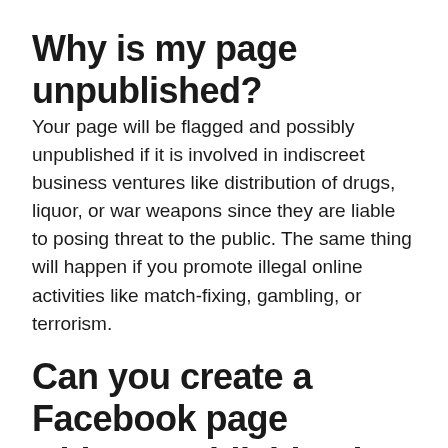Why is my page unpublished?
Your page will be flagged and possibly unpublished if it is involved in indiscreet business ventures like distribution of drugs, liquor, or war weapons since they are liable to posing threat to the public. The same thing will happen if you promote illegal online activities like match-fixing, gambling, or terrorism.
Can you create a Facebook page without publishing it?
You can make a Facebook business page prior to publishing it, which will submit it